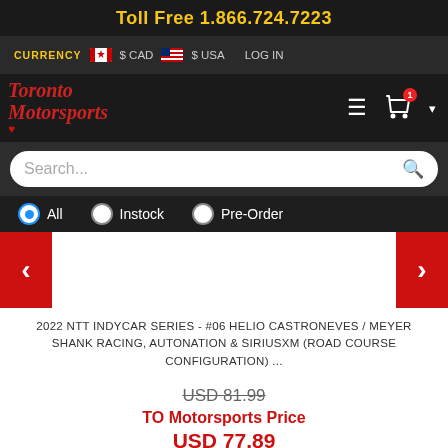Toll Free 1.866.724.7223
CURRENCY  $ CAD  $ USA  LOG IN
[Figure (logo): Toronto Motorsports logo with red cursive text and Canadian maple leaf]
Search...
All  Instock  Pre-Order
2022 NTT INDYCAR SERIES - #06 HELIO CASTRONEVES / MEYER SHANK RACING, AUTONATION & SIRIUSXM (ROAD COURSE CONFIGURATION) ...
USD 81.99
TO Motorsports Price
USD 77.89